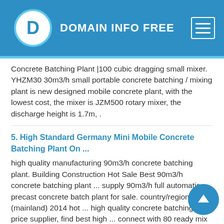DOMAIN INFO FREE
Concrete Batching Plant |100 cubic dragging small mixer. YHZM30 30m3/h small portable concrete batching / mixing plant is new designed mobile concrete plant, with the lowest cost, the mixer is JZM500 rotary mixer, the discharge height is 1.7m, .
5. High Standard Germany Mini Mobile Concrete Batching Plant On ...
high quality manufacturing 90m3/h concrete batching plant. Building Construction Hot Sale Best 90m3/h concrete batching plant ... supply 90m3/h full automatic precast concrete batch plant for sale. country/region china (mainland) 2014 hot ... high quality concrete batching plant price supplier, find best high ... connect with 80 ready mix concrete plant ...
6. U MIX Products Company Products Ranging from Mortar Mix
Material mix design for masonry grouting. ASTM C476